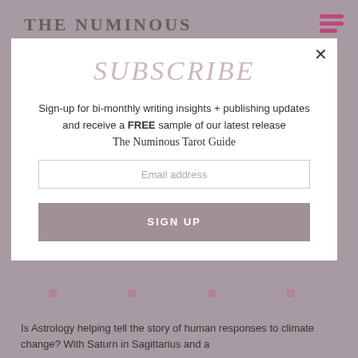THE NUMINOUS
ASTROLOGY AND CLIMATE CHANGE
BY: RUBY WARRINGTON · ASTRO + TAROT, LIFESTYLE, TRAVEL
SUBSCRIBE
Sign-up for bi-monthly writing insights + publishing updates and receive a FREE sample of our latest release
The Numinous Tarot Guide
Email address
SIGN UP
Is Astrology helping tell the story of human responses to climate change? With Saturn in Sagittarius and a